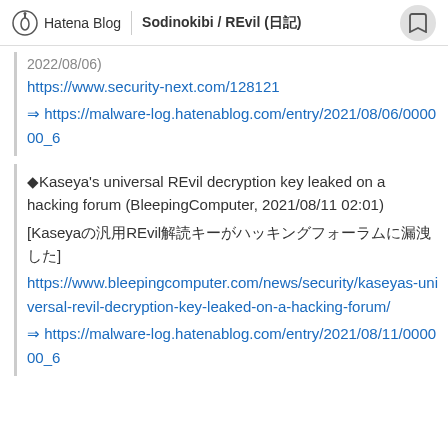Hatena Blog | Sodinokibi / REvil (日記)
2022/08/06)
https://www.security-next.com/128121
⇒ https://malware-log.hatenablog.com/entry/2021/08/06/000000_6
◆Kaseya's universal REvil decryption key leaked on a hacking forum (BleepingComputer, 2021/08/11 02:01)
[Kaseyaの汎用REvil解読キーがハッキングフォーラムに漏洩した]
https://www.bleepingcomputer.com/news/security/kaseyas-universal-revil-decryption-key-leaked-on-a-hacking-forum/
⇒ https://malware-log.hatenablog.com/entry/2021/08/11/000000_6